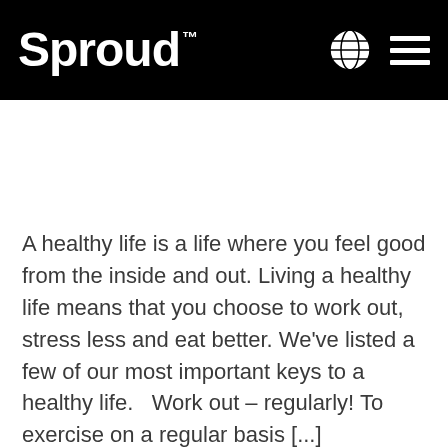Sproud™
A healthy life is a life where you feel good from the inside and out. Living a healthy life means that you choose to work out, stress less and eat better. We've listed a few of our most important keys to a healthy life.   Work out – regularly! To exercise on a regular basis [...]
WATER CONSUMPTION – HERE'S YOUR WORST FOODS